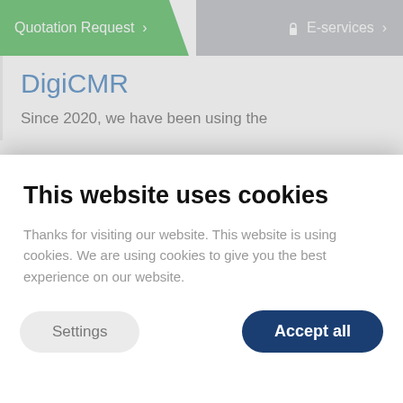Quotation Request >
E-services >
DigiCMR
Since 2020, we have been using the
This website uses cookies
Thanks for visiting our website. This website is using cookies. We are using cookies to give you the best experience on our website.
Settings
Accept all